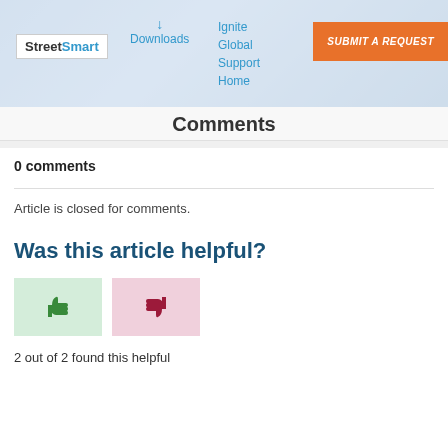[Figure (screenshot): Website header with StreetSmart logo, Downloads link with arrow icon, Ignite Global Support Home navigation links, and an orange SUBMIT A REQUEST button on a light blue background]
Comments
0 comments
Article is closed for comments.
Was this article helpful?
[Figure (infographic): Thumbs up button with green background and thumbs down button with pink background]
2 out of 2 found this helpful